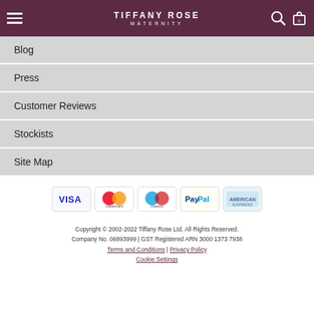TIFFANY ROSE MATERNITY
Blog
Press
Customer Reviews
Stockists
Site Map
[Figure (other): Payment method logos: Visa, Mastercard, Maestro, PayPal, American Express]
Copyright © 2002-2022 Tiffany Rose Ltd. All Rights Reserved. Company No. 06893999 | GST Registered ARN 3000 1373 7938 Terms and Conditions | Privacy Policy Cookie Settings